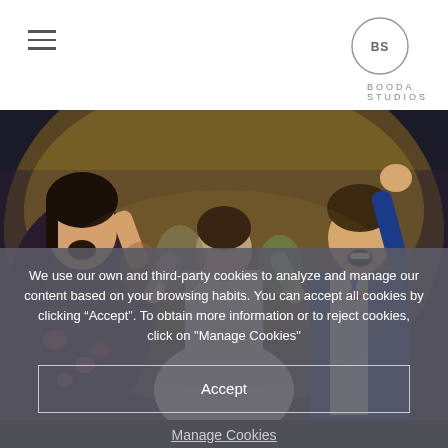Booda Studios — navigation header with hamburger menu and BS logo
[Figure (photo): Wedding party dancing joyfully; woman in floral dress on left laughing with mouth open, bride in white gown in center, groom in blue suit on right raising arm, guests in background]
We use our own and third-party cookies to analyze and manage our content based on your browsing habits. You can accept all cookies by clicking “Accept”. To obtain more information or to reject cookies, click on "Manage Cookies"
Accept
Manage Cookies